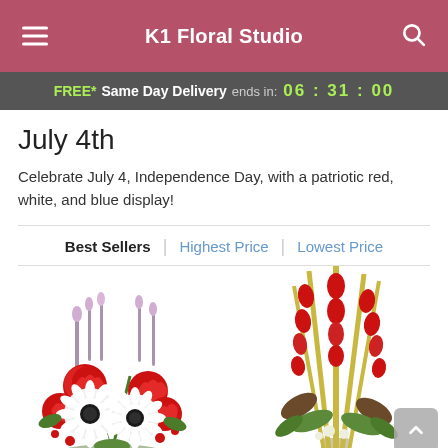K1 Floral Studio
FREE* Same Day Delivery ends in: 06 : 31 : 00
July 4th
Celebrate July 4, Independence Day, with a patriotic red, white, and blue display!
Best Sellers | Highest Price | Lowest Price
[Figure (photo): Red and white floral arrangement with carnations and gerbera daisies for July 4th]
[Figure (photo): Tall patriotic floral arrangement with red gladiolas and tropical foliage in a vase]